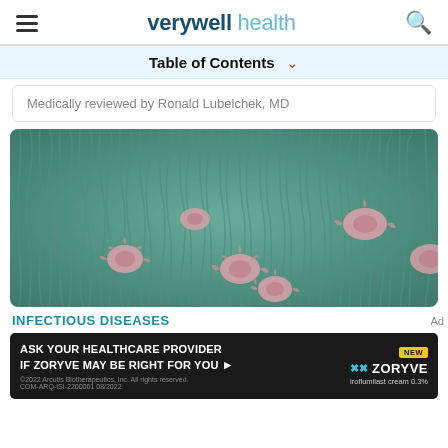verywell health
Table of Contents
Medically reviewed by Ronald Lubelchek, MD
[Figure (photo): Electron microscope image showing pink/rose colored viral or bacterial particles on a green textured surface (cilia or tissue)]
INFECTIOUS DISEASES
[Figure (infographic): Advertisement banner: ASK YOUR HEALTHCARE PROVIDER IF ZORYVE MAY BE RIGHT FOR YOU — ZORYVE iroflumilast cream 0.3%]